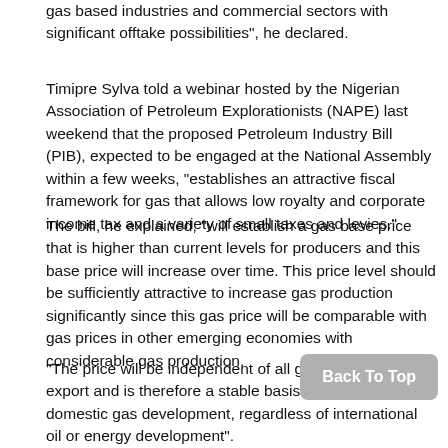gas based industries and commercial sectors with significant offtake possibilities", he declared.
Timipre Sylva told a webinar hosted by the Nigerian Association of Petroleum Explorationists (NAPE) last weekend that the proposed Petroleum Industry Bill (PIB), expected to be engaged at the National Assembly within a few weeks, "establishes an attractive fiscal framework for gas that allows low royalty and corporate income tax and a variety of small taxes and levies."
The bill, he explained, "will establish a gas base price that is higher than current levels for producers and this base price will increase over time. This price level should be sufficiently attractive to increase gas production significantly since this gas price will be comparable with gas prices in other emerging economies with considerable gas production.
"The price will be independent of all gas prices for LNG export and is therefore a stable basis for enhanced domestic gas development, regardless of international oil or energy development".
Sylva said the proposed bill also will establish a flexible and comprehensive framework for midstream gas development. "Gas